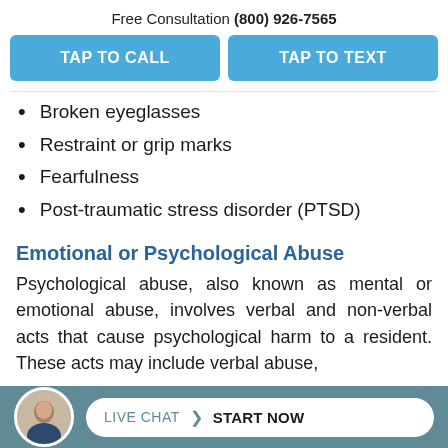Free Consultation (800) 926-7565
TAP TO CALL
TAP TO TEXT
Broken eyeglasses
Restraint or grip marks
Fearfulness
Post-traumatic stress disorder (PTSD)
Emotional or Psychological Abuse
Psychological abuse, also known as mental or emotional abuse, involves verbal and non-verbal acts that cause psychological harm to a resident. These acts may include verbal abuse,
LIVE CHAT  START NOW